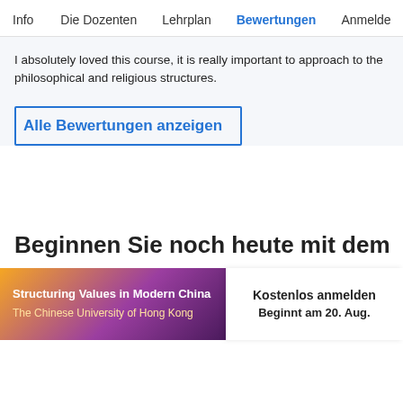Info   Die Dozenten   Lehrplan   Bewertungen   Anmelde
I absolutely loved this course, it is really important to approach to the philosophical and religious structures.
Alle Bewertungen anzeigen
Beginnen Sie noch heute mit dem
Structuring Values in Modern China
The Chinese University of Hong Kong
Kostenlos anmelden
Beginnt am 20. Aug.